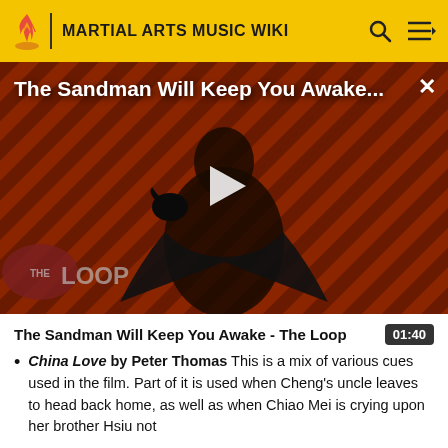MARTIAL ARTS MUSIC WIKI
[Figure (screenshot): Video thumbnail showing a dark-cloaked figure against a diagonal red and black striped background, with 'THE LOOP' watermark, play button overlay, and title 'The Sandman Will Keep You Awake...' at top]
The Sandman Will Keep You Awake - The Loop	01:40
China Love by Peter Thomas This is a mix of various cues used in the film. Part of it is used when Cheng's uncle leaves to head back home, as well as when Chiao Mei is crying upon her brother Hsiu not